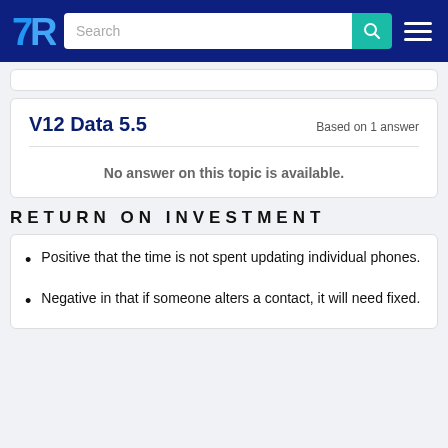TrustRadius — Search bar and navigation
V12 Data 5.5
Based on 1 answer
No answer on this topic is available.
RETURN ON INVESTMENT
Positive that the time is not spent updating individual phones.
Negative in that if someone alters a contact, it will need fixed.